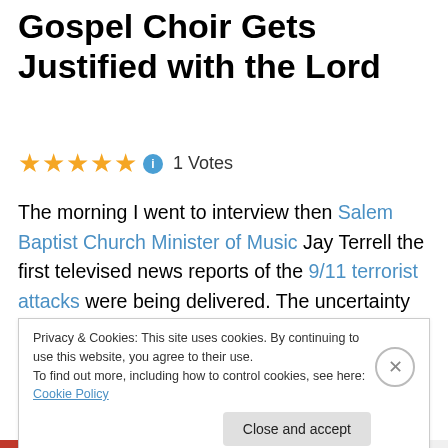Gospel Choir Gets Justified with the Lord
★★★★★ ℹ 1 Votes
The morning I went to interview then Salem Baptist Church Minister of Music Jay Terrell the first televised news reports of the 9/11 terrorist attacks were being delivered.  The uncertainty and fear of those events cast a strange heaviness over our meeting, but we proceeded nonetheless.  Later, I saw him lead the church's acclaimed
Privacy & Cookies: This site uses cookies. By continuing to use this website, you agree to their use.
To find out more, including how to control cookies, see here: Cookie Policy
Close and accept